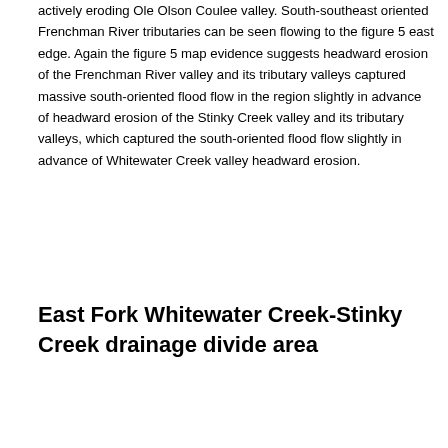actively eroding Ole Olson Coulee valley. South-southeast oriented Frenchman River tributaries can be seen flowing to the figure 5 east edge. Again the figure 5 map evidence suggests headward erosion of the Frenchman River valley and its tributary valleys captured massive south-oriented flood flow in the region slightly in advance of headward erosion of the Stinky Creek valley and its tributary valleys, which captured the south-oriented flood flow slightly in advance of Whitewater Creek valley headward erosion.
East Fork Whitewater Creek-Stinky Creek drainage divide area
[Figure (map): Topographic map portion — TOPO! map printed on 06/01/11, showing the East Fork Whitewater Creek-Stinky Creek drainage divide area. Coordinate labels visible along the top edge.]